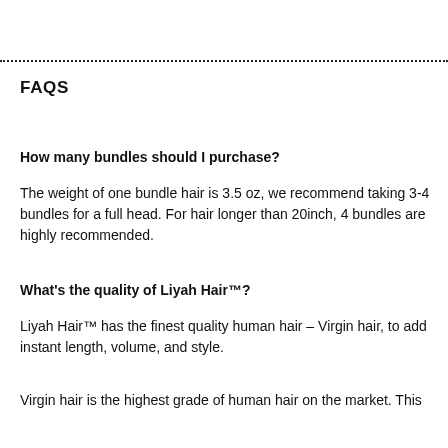FAQS
How many bundles should I purchase?
The weight of one bundle hair is 3.5 oz, we recommend taking 3-4 bundles for a full head. For hair longer than 20inch, 4 bundles are highly recommended.
What's the quality of Liyah Hair™?
Liyah Hair™ has the finest quality human hair – Virgin hair, to add instant length, volume, and style.
Virgin hair is the highest grade of human hair on the market. This